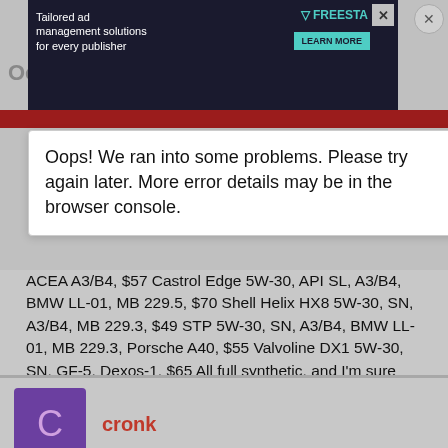[Figure (screenshot): Advertisement banner with dark background showing 'Tailored ad management solutions for every publisher' text and FREESTAR logo with LEARN MORE button]
Oops
Oops! We ran into some problems. Please try again later. More error details may be in the browser console.
ACEA A3/B4, $57 Castrol Edge 5W-30, API SL, A3/B4, BMW LL-01, MB 229.5, $70 Shell Helix HX8 5W-30, SN, A3/B4, MB 229.3, $49 STP 5W-30, SN, A3/B4, BMW LL-01, MB 229.3, Porsche A40, $55 Valvoline DX1 5W-30, SN, GF-5, Dexos-1, $65 All full synthetic, and I'm sure there are a few others like Penrite or Chief that I have missed. But that's a decent selection at various price point, and with various approvals. Of course, if you plan ahead you can often get these at 15 to 50 % off during sales in Australia. I've only just started looking at STP oil, and I would happily give them a go, at the right price. Plus the Magnatec 5W-30 is very new and has only been around for a month or so. It's hard to know which oil to use next.
cronk